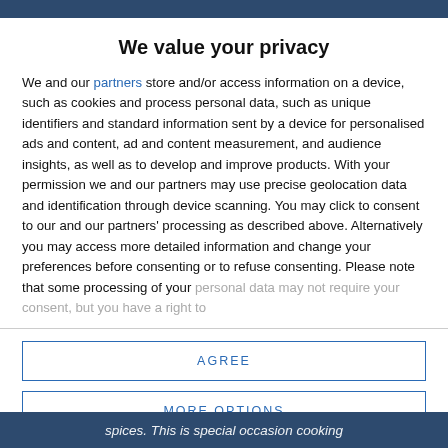We value your privacy
We and our partners store and/or access information on a device, such as cookies and process personal data, such as unique identifiers and standard information sent by a device for personalised ads and content, ad and content measurement, and audience insights, as well as to develop and improve products. With your permission we and our partners may use precise geolocation data and identification through device scanning. You may click to consent to our and our partners' processing as described above. Alternatively you may access more detailed information and change your preferences before consenting or to refuse consenting. Please note that some processing of your personal data may not require your consent, but you have a right to
AGREE
MORE OPTIONS
spices. This is special occasion cooking